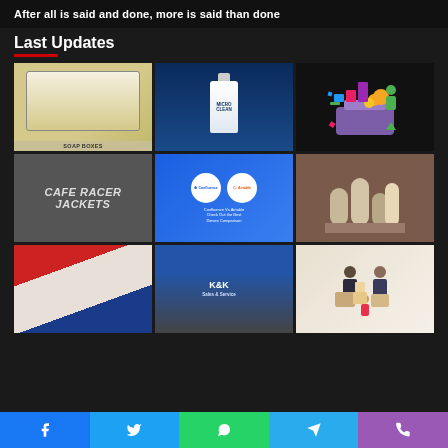After all is said and done, more is said than done
Last Updates
[Figure (photo): Soap boxes product image]
[Figure (photo): Micro Clean cleaning product bottle]
[Figure (illustration): Fintech mobile app illustration with coins]
[Figure (photo): Cafe Racer Jackets sign]
[Figure (infographic): Confluence vs Airtable comparison graphic]
[Figure (photo): Candle packaging product photo]
[Figure (photo): Colorful layered board closeup]
[Figure (photo): K&K train station signage]
[Figure (photo): Family moving boxes photo]
Facebook Twitter WhatsApp Telegram Phone